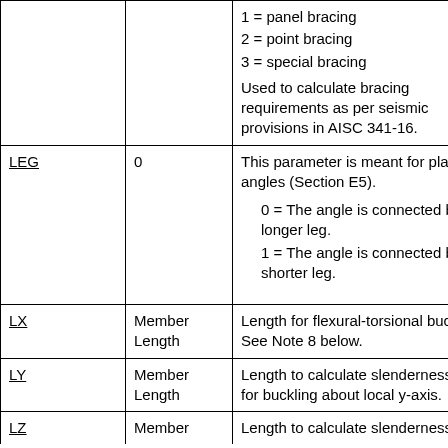| Parameter | Default | Description |
| --- | --- | --- |
|  |  | 1 = panel bracing
2 = point bracing
3 = special bracing

Used to calculate bracing requirements as per seismic provisions in AISC 341-16. |
| LEG | 0 | This parameter is meant for plain angles (Section E5).
0 = The angle is connected by the longer leg.
1 = The angle is connected by the shorter leg. |
| LX | Member Length | Length for flexural-torsional buckling. See Note 8 below. |
| LY | Member Length | Length to calculate slenderness ratio for buckling about local y-axis. |
| LZ | Member | Length to calculate slenderness |